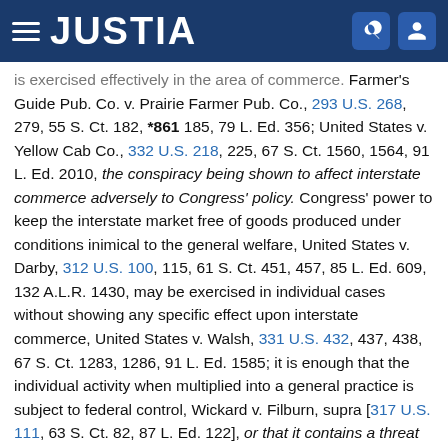JUSTIA
is exercised effectively in the area of commerce. Farmer's Guide Pub. Co. v. Prairie Farmer Pub. Co., 293 U.S. 268, 279, 55 S. Ct. 182, *861 185, 79 L. Ed. 356; United States v. Yellow Cab Co., 332 U.S. 218, 225, 67 S. Ct. 1560, 1564, 91 L. Ed. 2010, the conspiracy being shown to affect interstate commerce adversely to Congress' policy. Congress' power to keep the interstate market free of goods produced under conditions inimical to the general welfare, United States v. Darby, 312 U.S. 100, 115, 61 S. Ct. 451, 457, 85 L. Ed. 609, 132 A.L.R. 1430, may be exercised in individual cases without showing any specific effect upon interstate commerce, United States v. Walsh, 331 U.S. 432, 437, 438, 67 S. Ct. 1283, 1286, 91 L. Ed. 1585; it is enough that the individual activity when multiplied into a general practice is subject to federal control, Wickard v. Filburn, supra [317 U.S. 111, 63 S. Ct. 82, 87 L. Ed. 122], or that it contains a threat to the interstate